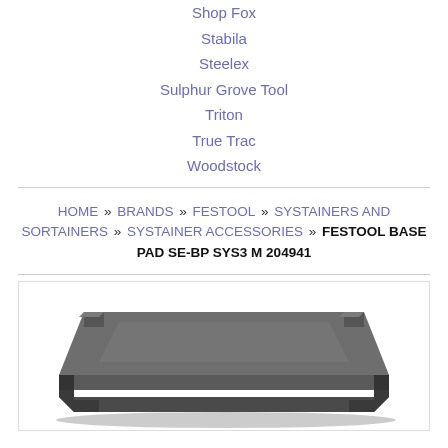Shop Fox
Stabila
Steelex
Sulphur Grove Tool
Triton
True Trac
Woodstock
HOME » BRANDS » FESTOOL » SYSTAINERS AND SORTAINERS » SYSTAINER ACCESSORIES » FESTOOL BASE PAD SE-BP SYS3 M 204941
[Figure (photo): Festool Base Pad SE-BP SYS3 M 204941 — a flat rectangular dark grey foam base pad with notched corners, viewed from a slight angle above.]